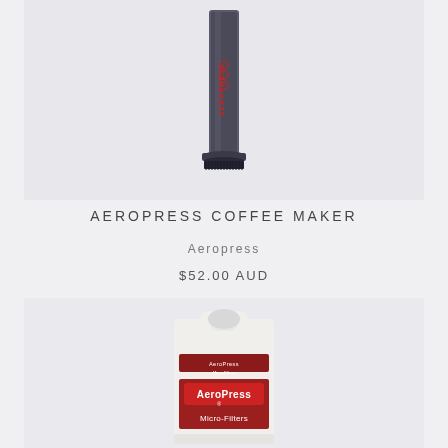[Figure (photo): Close-up photo of an AeroPress Coffee Maker device, showing the lower cylindrical body with red AeroPress branding text and symbols, and the filter cap at the bottom, against a light grey background.]
AEROPRESS COFFEE MAKER
Aeropress
$52.00 AUD
[Figure (photo): Photo of an AeroPress Micro-Filters package — a white rectangular box with a handle cutout at the top, featuring AeroPress branding in red and white on the front label, and 'Micro-Filters' text below.]